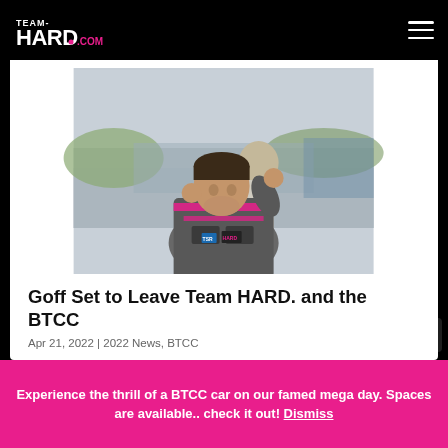Team-HARD.com
[Figure (photo): A racing driver in a pink and grey racing suit, looking down with one hand near his face, another person visible behind him, taken at a racing circuit.]
Goff Set to Leave Team HARD. and the BTCC
Apr 21, 2022 | 2022 News, BTCC
Experience the thrill of a BTCC car on our famed mega day. Spaces are available.. check it out! Dismiss